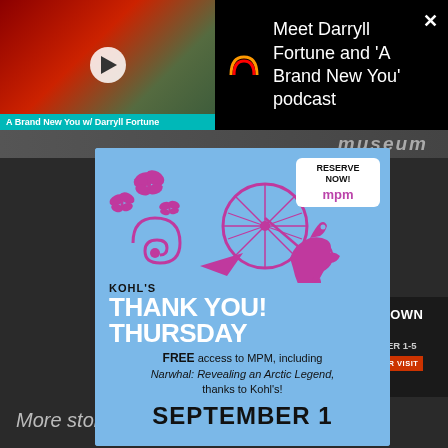[Figure (screenshot): Notification overlay showing a video thumbnail of a person in red hat at a microphone, with text 'Meet Darryll Fortune and A Brand New You podcast' and a close button]
A Brand New You w/ Darryll Fortune
Meet Darryll Fortune and 'A Brand New You' podcast
[Figure (infographic): Kohl's Thank You Thursday advertisement on blue background with magenta icons (butterflies, snail shell, bicycle wheel, arrow, T-rex dinosaur). Reserve Now MPM badge in top right. Text reads: KOHL'S THANK YOU! THURSDAY. FREE access to MPM, including Narwhal: Revealing an Arctic Legend, thanks to Kohl's! SEPTEMBER 1]
KOHL'S
THANK YOU!
THURSDAY
FREE access to MPM, including Narwhal: Revealing an Arctic Legend, thanks to Kohl's!
SEPTEMBER 1
HOMETOWN RALLY SEPTEMBER 1-5
More stori